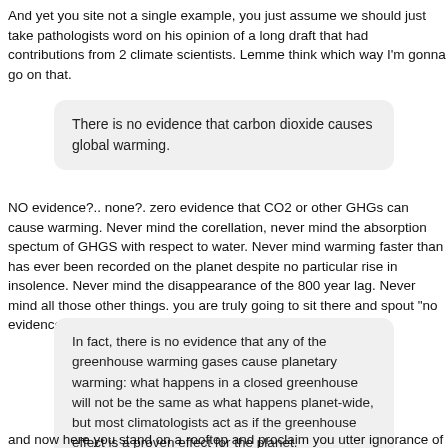And yet you site not a single example, you just assume we should just take pathologists word on his opinion of a long draft that had contributions from 2 climate scientists. Lemme think which way I'm gonna go on that.
There is no evidence that carbon dioxide causes global warming.
NO evidence?.. none?. zero evidence that CO2 or other GHGs can cause warming. Never mind the corellation, never mind the absorption spectum of GHGS with respect to water. Never mind warming faster than has ever been recorded on the planet despite no particular rise in insolence. Never mind the disappearance of the 800 year lag. Never mind all those other things. you are truly going to sit there and spout "no evidence!" LOL
In fact, there is no evidence that any of the greenhouse warming gases cause planetary warming: what happens in a closed greenhouse will not be the same as what happens planet-wide, but most climatologists act as if the greenhouse effect is a proven effect for the planet.
and now here you stand on a rooftop and proclaim you utter ignorance of c